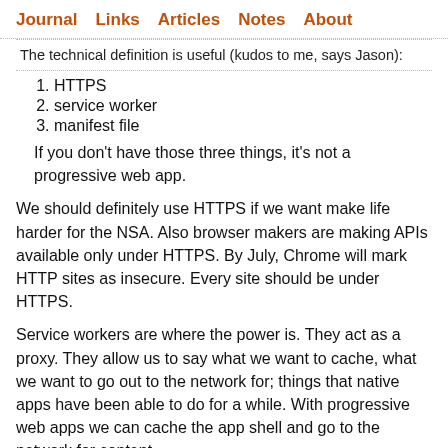Journal  Links  Articles  Notes  About
The technical definition is useful (kudos to me, says Jason):
HTTPS
service worker
manifest file
If you don't have those three things, it's not a progressive web app.
We should definitely use HTTPS if we want make life harder for the NSA. Also browser makers are making APIs available only under HTTPS. By July, Chrome will mark HTTP sites as insecure. Every site should be under HTTPS.
Service workers are where the power is. They act as a proxy. They allow us to say what we want to cache, what we want to go out to the network for; things that native apps have been able to do for a while. With progressive web apps we can cache the app shell and go to the network for content.